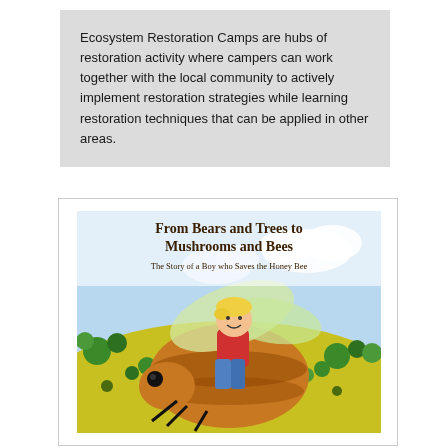Ecosystem Restoration Camps are hubs of restoration activity where campers can work together with the local community to actively implement restoration strategies while learning restoration techniques that can be applied in other areas.
[Figure (illustration): Book cover illustration for 'From Bears and Trees to Mushrooms and Bees: The Story of a Boy who Saves the Honey Bee'. Shows a boy with blonde hair riding on the back of a large honey bee over a green and yellow landscape with trees.]